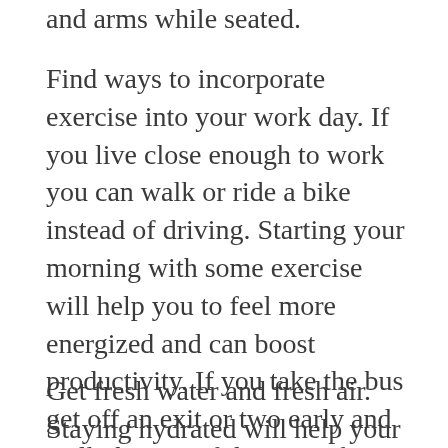and arms while seated.
Find ways to incorporate exercise into your work day.  If you live close enough to work you can walk or ride a bike instead of driving.  Starting your morning with some exercise will help you to feel more energized and can boost productivity.  If you take the bus get off an exit or two early and walk the rest of the way.  If you drive to work don’t take the parking spot closest to the door.  Park a little further and enjoy the chance to stretch your legs.  You can also use the stairs instead of the elevator, the activity can help loosen up your body and the consistent exercise can help you shed some unwanted weight.
Get fresh water and fresh air.  Staying hydrated will help your body stay healthy.  Walking from your desk to the kitchen or water fountain can be a good way to